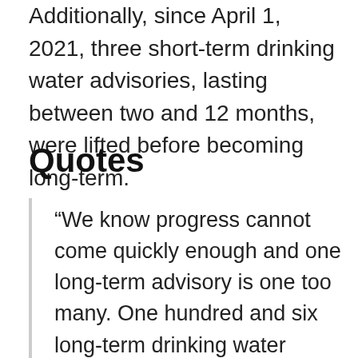Additionally, since April 1, 2021, three short-term drinking water advisories, lasting between two and 12 months, were lifted before becoming long-term.
Quotes
“We know progress cannot come quickly enough and one long-term advisory is one too many. One hundred and six long-term drinking water advisories have been lifted to date, and projects are in place to address each of the remaining advisories. Our